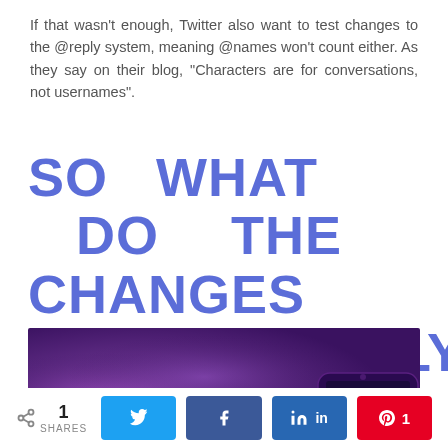If that wasn't enough, Twitter also want to test changes to the @reply system, meaning @names won't count either. As they say on their blog, “Characters are for conversations, not usernames”.
SO WHAT DO THE CHANGES ACTUALLY MEAN FOR YOU?
[Figure (photo): Purple/violet blurred background with a smartphone visible in the lower right corner, and a teal/green banner overlay at the bottom.]